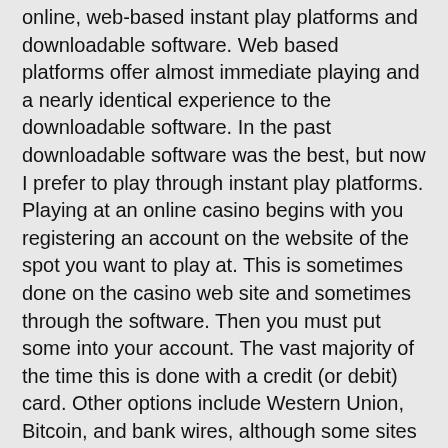online, web-based instant play platforms and downloadable software. Web based platforms offer almost immediate playing and a nearly identical experience to the downloadable software. In the past downloadable software was the best, but now I prefer to play through instant play platforms. Playing at an online casino begins with you registering an account on the website of the spot you want to play at. This is sometimes done on the casino web site and sometimes through the software. Then you must put some into your account. The vast majority of the time this is done with a credit (or debit) card. Other options include Western Union, Bitcoin, and bank wires, although some sites carry substantial fees for using these services. Beware that some credit cards will treat deposits to an online casino as a cash advance. If this happens then you may have success in arguing the charge but many credit cards have a flat policy that a purchase of casino chips counts as a cash advance. I recommend using debit cards instead, as there is never a cash advance fee and the transactions are posted faster.